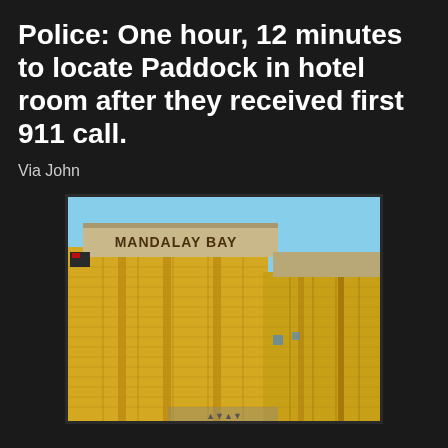Police: One hour, 12 minutes to locate Paddock in hotel room after they received first 911 call.
Via John
[Figure (photo): Photograph of the Mandalay Bay hotel tower in Las Vegas, showing the gold glass facade with 'MANDALAY BAY' sign near the top of the building against a blue sky.]